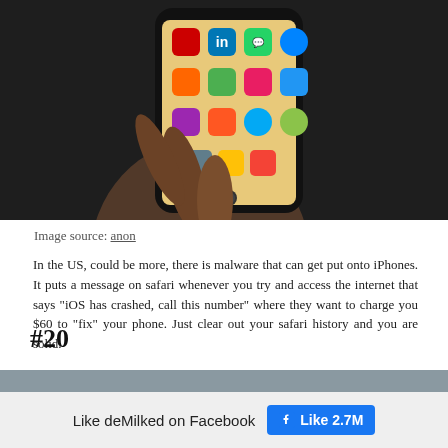[Figure (photo): A hand holding a smartphone with the screen displaying app icons including LinkedIn, WhatsApp, and Facebook Messenger on a dark background.]
Image source: anon
In the US, could be more, there is malware that can get put onto iPhones. It puts a message on safari whenever you try and access the internet that says "iOS has crashed, call this number" where they want to charge you $60 to "fix" your phone. Just clear out your safari history and you are solid.
#20
[Figure (photo): Partial photo visible at bottom of page, appears to show an architectural or road scene.]
Like deMilked on Facebook